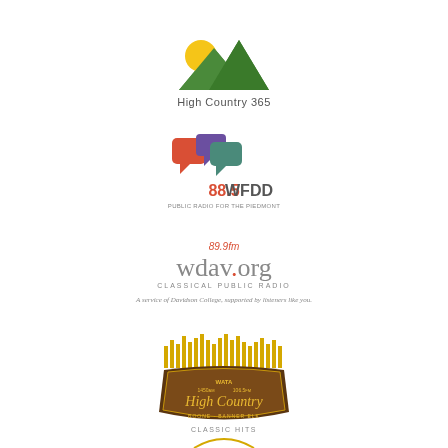[Figure (logo): High Country 365 logo — green mountain peaks with yellow sun, text 'High Country 365' below]
[Figure (logo): 88.5 WFDD logo — colorful speech bubble icons (red, purple, teal) with '88.5WFDD' and 'Public Radio for the Piedmont']
[Figure (logo): 89.9fm wdav.org Classical Public Radio logo — grey text with red dot, italic tagline 'A service of Davidson College, supported by listeners like you.']
[Figure (logo): 90.5 WASU FM the APP logo — gold/yellow cityscape silhouette, bold text '90.5 WASU fm the APP']
[Figure (logo): WATA 1450am 106.5fm High Country logo — vintage badge/shield shape, dark brown with gold text 'High Country']
[Figure (logo): Classic Hits logo — partial view at bottom, yellow/gold design]